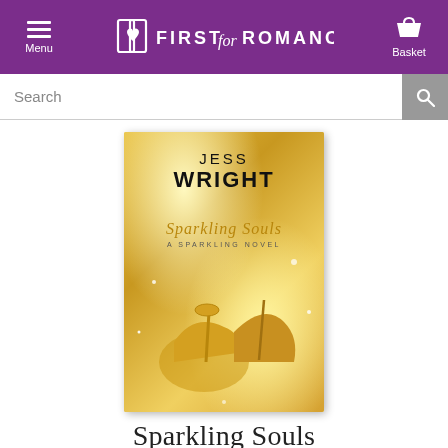FIRST for ROMANCE — Menu | Basket
Search
[Figure (illustration): Book cover for 'Sparkling Souls' by Jess Wright. Gold glittery background with gold high-heeled shoes and champagne glass. Text reads: JESS WRIGHT, Sparkling Souls, A SPARKLING NOVEL.]
Sparkling Souls